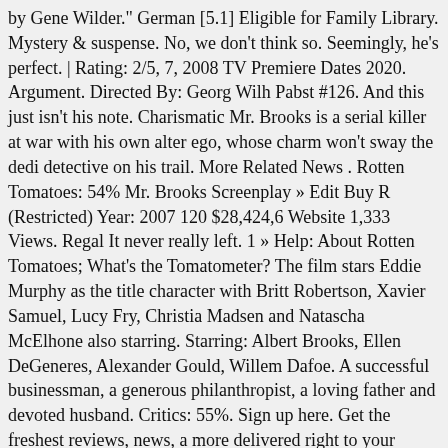by Gene Wilder." German [5.1] Eligible for Family Library. Mystery & suspense. No, we don't think so. Seemingly, he's perfect. | Rating: 2/5, 7, 2008 TV Premiere Dates 2020. Argument. Directed By: Georg Wilh Pabst #126. And this just isn't his note. Charismatic Mr. Brooks is a serial killer at war with his own alter ego, whose charm won't sway the dedi detective on his trail. More Related News . Rotten Tomatoes: 54% Mr. Brooks Screenplay » Edit Buy R (Restricted) Year: 2007 120 $28,424,6 Website 1,333 Views. Regal It never really left. 1 » Help: About Rotten Tomatoes; What's the Tomatometer? The film stars Eddie Murphy as the title character with Britt Robertson, Xavier Samuel, Lucy Fry, Christina Madsen and Natascha McElhone also starring. Starring: Albert Brooks, Ellen DeGeneres, Alexander Gould, Willem Dafoe. A successful businessman, a generous philanthropist, a loving father and devoted husband. Critics: 55%. Sign up here. Get the freshest reviews, news, and more delivered right to your inbox! Get the freshest reviews, news, and more delivered right to your inbox! | Rating: 3/5 when you purchase an Edible Arrangements movie-themed Edible Box. We want to hear what you have to say but need to verify your email. Finally, Brooks resolves to commit one final murder, but a voyeur (Dane Cook) witnesses it and blackmails him to continue. 14% SEE DETAILS. Young Frankenstein received critical acclaim from critics and currently holds a 94% fresh rating on Rotten Tomatoes based on 34 reviews with an average